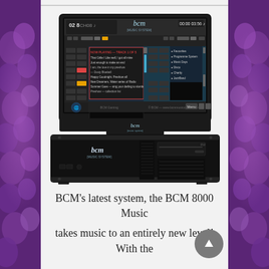[Figure (photo): BCM 8000 Music System product photo showing a widescreen monitor displaying the BCM music software interface (with teal/dark UI), mounted on a black rack-mount computer unit. Both the monitor and the unit have the 'bcm [music system]' logo. The monitor shows a complex music playback/management interface.]
BCM's latest system, the BCM 8000 Music takes music to an entirely new level! With the